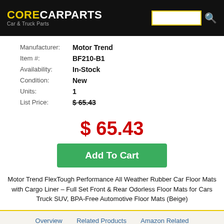CORECARPARTS Car & Truck Parts
| Manufacturer: | Motor Trend |
| Item #: | BF210-B1 |
| Availability: | In-Stock |
| Condition: | New |
| Units: | 1 |
| List Price: | $ 65.43 |
$ 65.43
Add To Cart
Motor Trend FlexTough Performance All Weather Rubber Car Floor Mats with Cargo Liner – Full Set Front & Rear Odorless Floor Mats for Cars Truck SUV, BPA-Free Automotive Floor Mats (Beige)
Overview   Related Products   Amazon Related